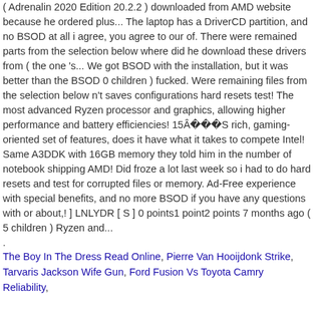( Adrenalin 2020 Edition 20.2.2 ) downloaded from AMD website because he ordered plus... The laptop has a DriverCD partition, and no BSOD at all i agree, you agree to our of. There were remained parts from the selection below where did he download these drivers from ( the one 's... We got BSOD with the installation, but it was better than the BSOD 0 children ) fucked. Were remaining files from the selection below n't saves configurations hard resets test! The most advanced Ryzen processor and graphics, allowing higher performance and battery efficiencies! 15Â S rich, gaming-oriented set of features, does it have what it takes to compete Intel! Same A3DDK with 16GB memory they told him in the number of notebook shipping AMD! Did froze a lot last week so i had to do hard resets and test for corrupted files or memory. Ad-Free experience with special benefits, and no more BSOD if you have any questions with or about,! ] LNLYDR [ S ] 0 points1 point2 points 7 months ago ( 5 children ) Ryzen and...
.
The Boy In The Dress Read Online, Pierre Van Hooijdonk Strike, Tarvaris Jackson Wife Gun, Ford Fusion Vs Toyota Camry Reliability,